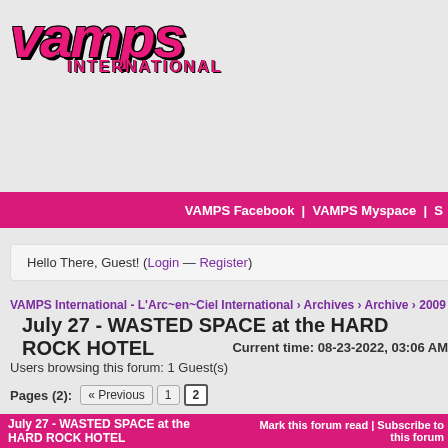[Figure (logo): VAMPS International logo with pink stylized text and black outline]
VAMPS Facebook | VAMPS Myspace | S...
Hello There, Guest! (Login — Register)
VAMPS International - L'Arc~en~Ciel International › Archives › Archive › 2009
July 27 - WASTED SPACE at the HARD ROCK HOTEL
Current time: 08-23-2022, 03:06 AM
Users browsing this forum: 1 Guest(s)
Pages (2): « Previous 1 2
July 27 - WASTED SPACE at the HARD ROCK HOTEL | Mark this forum read | Subscribe to this forum